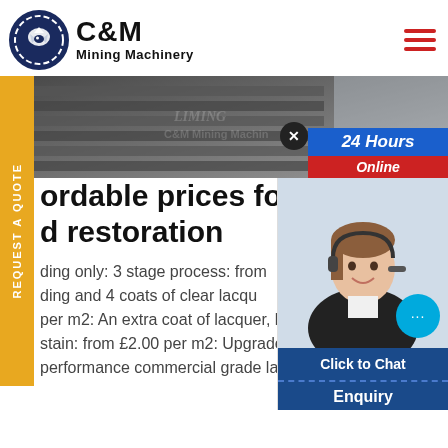[Figure (logo): C&M Mining Machinery logo — circular emblem with eagle/gear icon in navy blue, text 'C&M' bold black and 'Mining Machinery' below]
[Figure (photo): Industrial mining machinery equipment photo showing metal conveyor/screening equipment, with 'LIMING' brand watermark and 'C&M Mining Machinery' overlay text]
[Figure (infographic): 24 Hours Online badge: blue bar with '24 Hours' italic bold text, red bar with 'Online' italic text, and X close button]
REQUEST A QUOTE
ordable prices for floo d restoration
ding only: 3 stage process: from ding and 4 coats of clear lacqu per m2: An extra coat of lacquer, h stain: from £2.00 per m2: Upgrade performance commercial grade la
[Figure (photo): Female customer service agent wearing headset, smiling, with cyan/teal chat bubble icon overlay]
Click to Chat
Enquiry